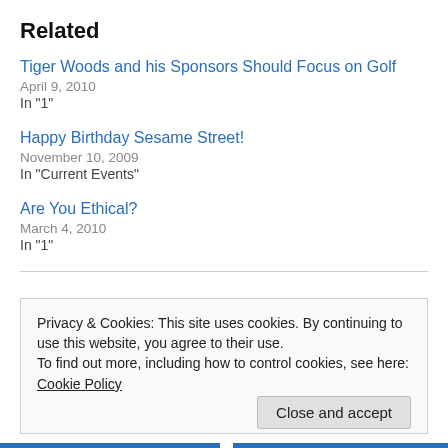Related
Tiger Woods and his Sponsors Should Focus on Golf
April 9, 2010
In "1"
Happy Birthday Sesame Street!
November 10, 2009
In "Current Events"
Are You Ethical?
March 4, 2010
In "1"
Privacy & Cookies: This site uses cookies. By continuing to use this website, you agree to their use.
To find out more, including how to control cookies, see here: Cookie Policy
Close and accept